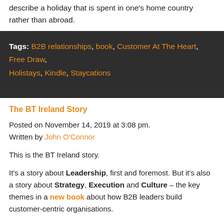describe a holiday that is spent in one's home country rather than abroad.
Tags: B2B relationships, book, Customer At The Heart, Free Draw, Holistays, Kindle, Staycations
The BT Ireland Story
Posted on November 14, 2019 at 3:08 pm.
Written by John O'Connor
This is the BT Ireland story.
It's a story about Leadership, first and foremost. But it's also a story about Strategy, Execution and Culture – the key themes in a new book about how B2B leaders build customer-centric organisations.